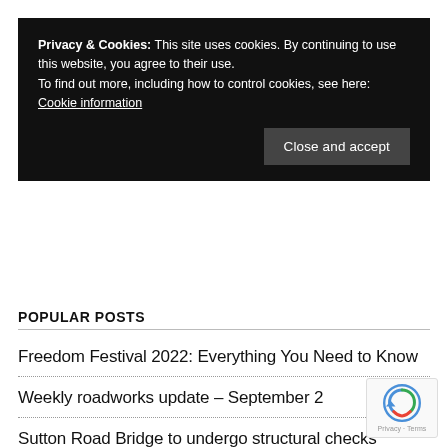Privacy & Cookies: This site uses cookies. By continuing to use this website, you agree to their use. To find out more, including how to control cookies, see here: Cookie information
Close and accept
POPULAR POSTS
Freedom Festival 2022: Everything You Need to Know
Weekly roadworks update – September 2
Sutton Road Bridge to undergo structural checks
Marfleet Lane flyover to undergo strengthening w…